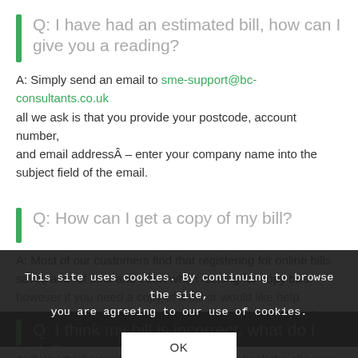Q: I have had an estimated bill, how can I give you a reading?
A: Simply send an email to sme-support@bc-consultants.co.uk all we ask is that you provide your postcode, account number, and email addressÂ – enter your company name into the subject field of the email.
Q: How can I get a copy of my bill?
A: Most of our customers find that registering for online bills saves a lot of time and effort when looking for copy bills, however if you need a copy of a bill or would like help registering for online bills please contact sme-support@bc-consultants.co.uk or call us on 0845 217 7325
This site uses cookies. By continuing to browse the site, you are agreeing to our use of cookies.
Q: I think my bill is incorrect, what do I do?
A: If you think your bill is incorrect please check the charges